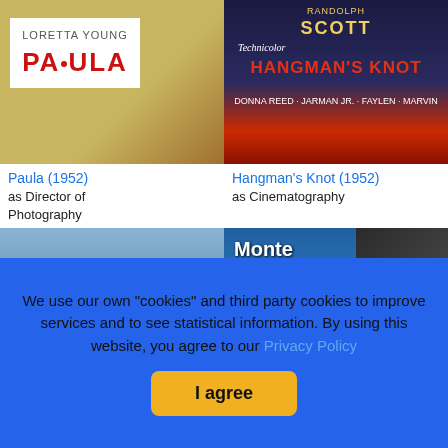[Figure (photo): Movie poster for Paula (1952) featuring Loretta Young text on white background with golden background]
Paula (1952)
as Director of Photography
[Figure (photo): Movie poster for Hangman's Knot (1952) featuring Randolph Scott in red and dark colors, with Donna Reed credit]
Hangman's Knot (1952)
as Cinematography
[Figure (photo): Movie poster for Santa Fe featuring Randolph Scott in blue sky background with gold oval title badge]
[Figure (photo): Movie poster for Monte Cristo with tagline Lives Fights Loves Again on blue background]
We use our own "cookies" and third party cookies to improve services and to see statistical information. By using this website, you agree to our Privacy Policy
I agree